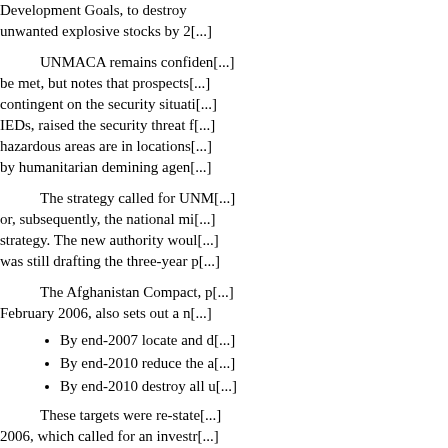Development Goals, to destroy unwanted explosive stocks by 2[...]
UNMACA remains confident [...] be met, but notes that prospects [...] contingent on the security situation [...] IEDs, raised the security threat [...] hazardous areas are in locations [...] by humanitarian demining agencies [...]
The strategy called for UNM [...] or, subsequently, the national mi [...] strategy. The new authority woul [...] was still drafting the three-year p [...]
The Afghanistan Compact, [...] February 2006, also sets out a n [...]
By end-2007 locate and d[...]
By end-2010 reduce the a[...]
By end-2010 destroy all u[...]
These targets were re-state [...] 2006, which called for an invest[...]
UNMACA's more immediate [...]
Minefield manual clearance: [...] Battlefield clearance: [...]